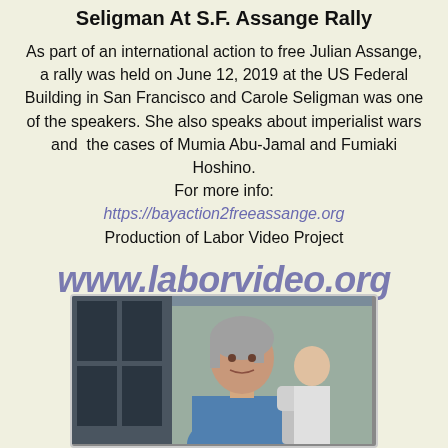Seligman At S.F. Assange Rally
As part of an international action to free Julian Assange, a rally was held on June 12, 2019 at the US Federal Building in San Francisco and Carole Seligman was one of the speakers. She also speaks about imperialist wars and the cases of Mumia Abu-Jamal and Fumiaki Hoshino.
For more info:
https://bayaction2freeassange.org
Production of Labor Video Project
www.laborvideo.org
[Figure (photo): Photo of Carole Seligman speaking at the rally, an older woman with gray hair in a blue shirt, at the US Federal Building]